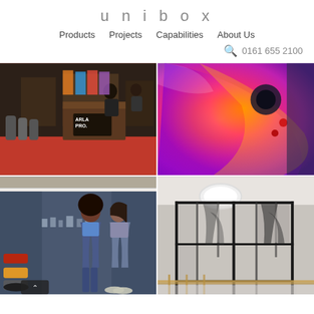unibox
Products   Projects   Capabilities   About Us
0161 655 2100
[Figure (photo): Trade show booth with Arla Pro branding, red carpet, dark wood display stand]
[Figure (photo): Close-up of colorful abstract shape or shoe in orange, pink, and purple tones]
[Figure (photo): Sports/fitness display showing two women in athletic wear with sneakers, cityscape background]
[Figure (photo): Modern office interior with glass partition walls featuring large graphic prints, industrial black frame structure]